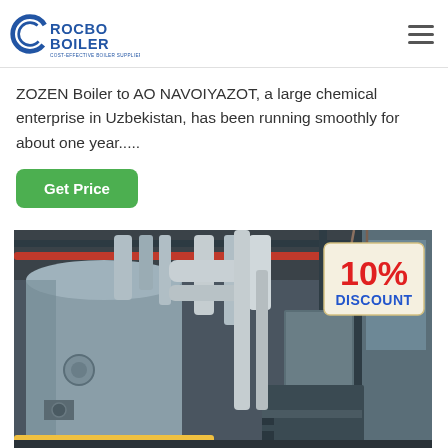ROCBO BOILER - COST-EFFECTIVE BOILER SUPPLIER
ZOZEN Boiler to AO NAVOIYAZOT, a large chemical enterprise in Uzbekistan, has been running smoothly for about one year.....
[Figure (photo): Industrial boiler room interior showing large cylindrical boilers, pipes, and equipment with a 10% DISCOUNT tag overlay in the top-right corner]